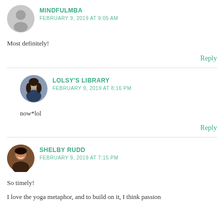[Figure (photo): Gray placeholder avatar silhouette for MindfulMBA commenter]
MINDFULMBA
FEBRUARY 9, 2019 AT 9:05 AM
Most definitely!
Reply
[Figure (photo): Profile photo of Lolsy's Library commenter — woman with dark hair]
LOLSY'S LIBRARY
FEBRUARY 9, 2019 AT 8:16 PM
now*lol
Reply
[Figure (photo): Profile photo of Shelby Rudd — smiling woman]
SHELBY RUDD
FEBRUARY 9, 2019 AT 7:15 PM
So timely!
I love the yoga metaphor, and to build on it, I think passion